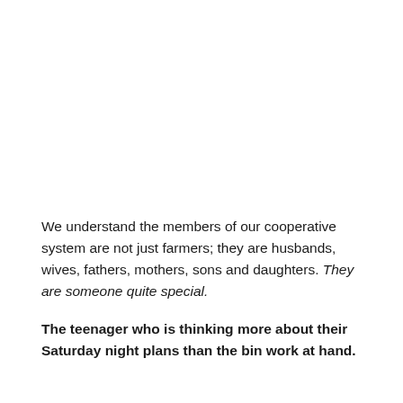We understand the members of our cooperative system are not just farmers; they are husbands, wives, fathers, mothers, sons and daughters. They are someone quite special.
The teenager who is thinking more about their Saturday night plans than the bin work at hand.